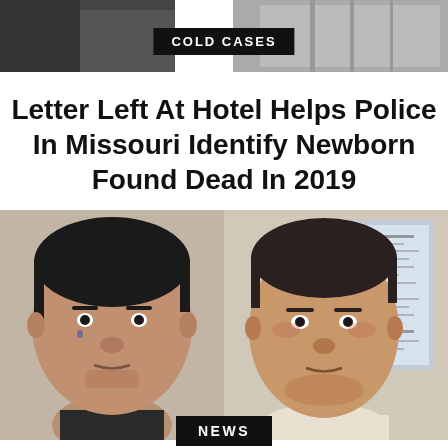[Figure (photo): Top banner with two background photos showing dark/blurred indoor scenes]
COLD CASES
Letter Left At Hotel Helps Police In Missouri Identify Newborn Found Dead In 2019
[Figure (photo): Two mugshot-style photos side by side: left shows a heavyset Hispanic male with short dark hair, right shows a younger Hispanic male with very short hair in a white shirt]
NEWS